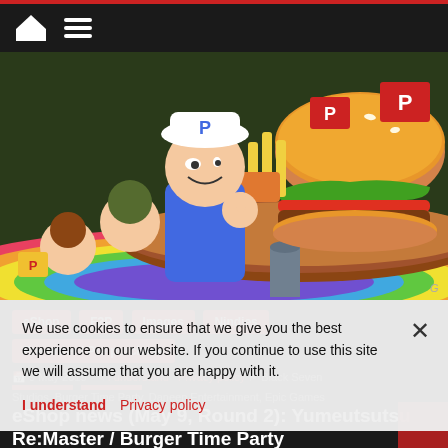Navigation bar with home icon and menu icon
[Figure (illustration): Cartoon video game characters wearing blue baseball caps with 'P' logo, holding a large burger with fries. Colorful anime-style art for a cooking/burger game. Multiple characters visible, rainbow-colored floor, dark background.]
eShop
F2P
Images
Nindies
Pre-order / Pre-purchase
Switch
Videos
eShop news (May 9, Round 2): Yumeutsutsu Re:Master / Burger Time Party
9 May 2019 · Black Seven Studios, Burger Time Party, Daneen Entertainment, Epic Games
We use cookies to ensure that we give you the best experience on our website. If you continue to use this site we will assume that you are happy with it.
I understand  Privacy policy